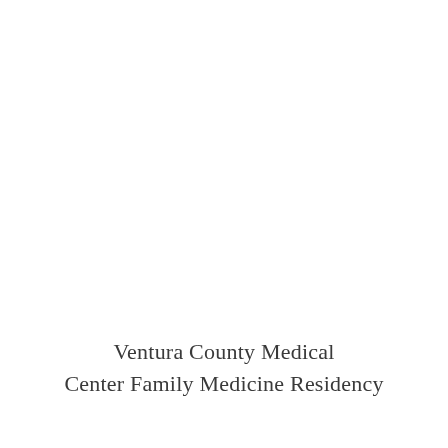Ventura County Medical Center Family Medicine Residency